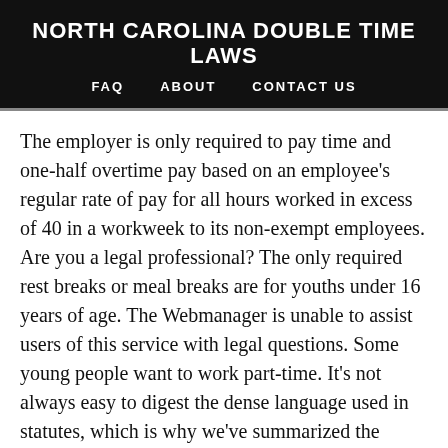NORTH CAROLINA DOUBLE TIME LAWS
FAQ   ABOUT   CONTACT US
The employer is only required to pay time and one-half overtime pay based on an employee's regular rate of pay for all hours worked in excess of 40 in a workweek to its non-exempt employees. Are you a legal professional? The only required rest breaks or meal breaks are for youths under 16 years of age. The Webmanager is unable to assist users of this service with legal questions. Some young people want to work part-time. It's not always easy to digest the dense language used in statutes, which is why we've summarized the